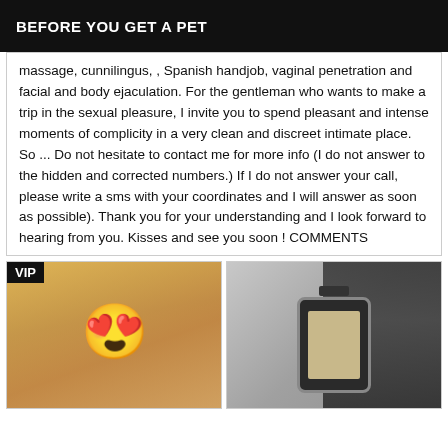BEFORE YOU GET A PET
massage, cunnilingus, , Spanish handjob, vaginal penetration and facial and body ejaculation. For the gentleman who wants to make a trip in the sexual pleasure, I invite you to spend pleasant and intense moments of complicity in a very clean and discreet intimate place. So ... Do not hesitate to contact me for more info (I do not answer to the hidden and corrected numbers.) If I do not answer your call, please write a sms with your coordinates and I will answer as soon as possible). Thank you for your understanding and I look forward to hearing from you. Kisses and see you soon ! COMMENTS
[Figure (photo): Two photos side by side. Left photo shows a blonde woman with an emoji face overlay and a VIP badge in the top left corner. Right photo shows a dark-haired person holding up a smartphone to their face.]